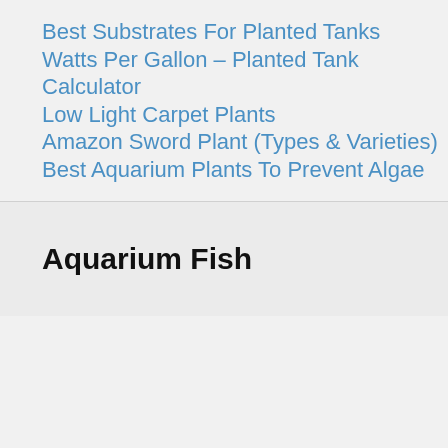Best Substrates For Planted Tanks
Watts Per Gallon – Planted Tank Calculator
Low Light Carpet Plants
Amazon Sword Plant (Types & Varieties)
Best Aquarium Plants To Prevent Algae
Aquarium Fish